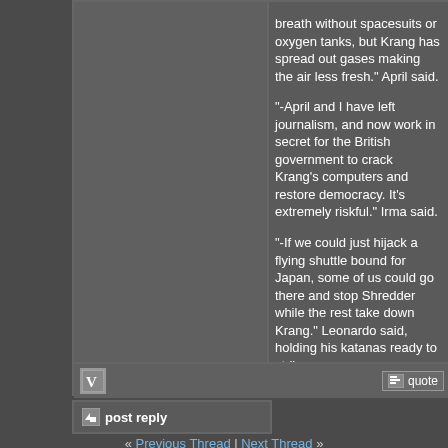breath without spacesuits or oxygen tanks, but Krang has spread out gases making the air less fresh." April said.
"-April and I have left journalism, and now work in secret for the British government to crack Krang's computers and restore democracy. It's extremely riskful." Irma said.
"-If we could just hijack a flying shuttle bound for Japan, some of us could go there and stop Shredder while the rest take down Krang." Leonardo said, holding his katanas ready to strike.
Last edited by Original TMNT Cartoon Fan; 11-12-2018 at 03:31 PM.
post reply
« Previous Thread | Next Thread »